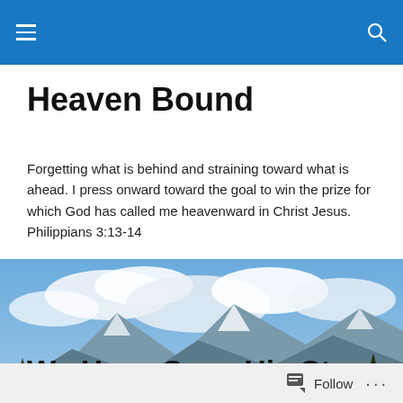Heaven Bound — navigation header
Heaven Bound
Forgetting what is behind and straining toward what is ahead. I press onward toward the goal to win the prize for which God has called me heavenward in Christ Jesus. Philippians 3:13-14
[Figure (photo): Panoramic mountain landscape with snow-capped peaks, blue sky with clouds, green forested slopes and autumn foliage in foreground]
We Have Seen His Star
Follow